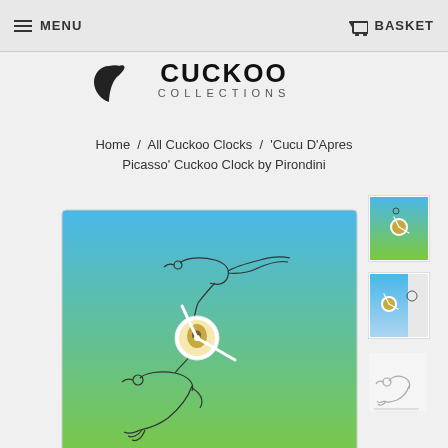MENU   BASKET
[Figure (logo): Cuckoo Collections logo with bird silhouette]
Home / All Cuckoo Clocks / 'Cucu D'Apres Picasso' Cuckoo Clock by Pirondini
[Figure (photo): Main product photo: Cucu D'Apres Picasso cuckoo clock with blue-to-green gradient background and Picasso dove line drawings]
[Figure (photo): Thumbnail 1: product front view]
[Figure (photo): Thumbnail 2: product side/angle view]
[Figure (illustration): Thumbnail 3: dove outline sketch]